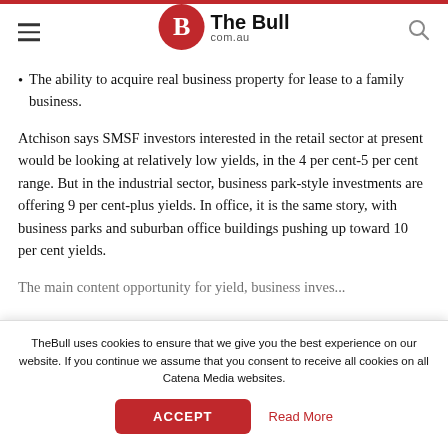The Bull com.au
The ability to acquire real business property for lease to a family business.
Atchison says SMSF investors interested in the retail sector at present would be looking at relatively low yields, in the 4 per cent-5 per cent range. But in the industrial sector, business park-style investments are offering 9 per cent-plus yields. In office, it is the same story, with business parks and suburban office buildings pushing up toward 10 per cent yields.
The main content opportunity for yield...
TheBull uses cookies to ensure that we give you the best experience on our website. If you continue we assume that you consent to receive all cookies on all Catena Media websites.